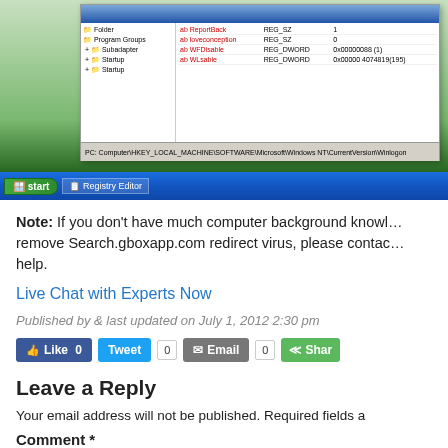[Figure (screenshot): Windows XP Registry Editor screenshot showing registry tree with keys including Program Groups, Subadapter, Startup, and Startup entries, with values REG_SZ, REG_DWORD listed in right pane. Windows XP taskbar at bottom with Start button and Registry Editor taskbar item.]
Note: If you don't have much computer background knowledge to remove Search.gboxapp.com redirect virus, please contact help.
Live Chat with Experts Now
Published by & last updated on July 1, 2012 2:30 pm
Leave a Reply
Your email address will not be published. Required fields a
Comment *